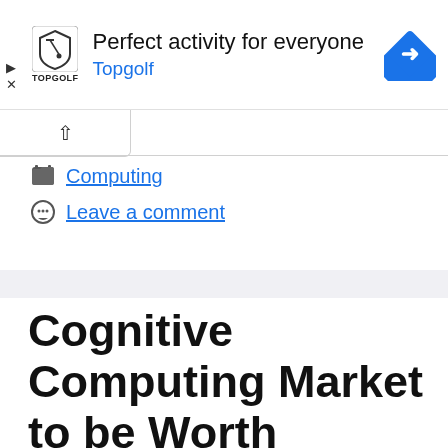[Figure (screenshot): Advertisement banner for Topgolf. Shows Topgolf logo, text 'Perfect activity for everyone', brand name 'Topgolf' in blue, and a blue navigation arrow icon on the right.]
Computing
Leave a comment
Cognitive Computing Market to be Worth $225.33 Billion by 2030: Grand View Research, Inc.